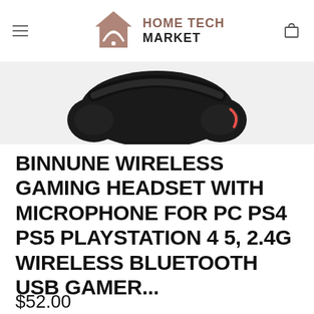HOME TECH MARKET
[Figure (photo): Black gaming headset product photo, partial view showing earphones with red accent, dark background]
BINNUNE WIRELESS GAMING HEADSET WITH MICROPHONE FOR PC PS4 PS5 PLAYSTATION 4 5, 2.4G WIRELESS BLUETOOTH USB GAMER...
$52.00